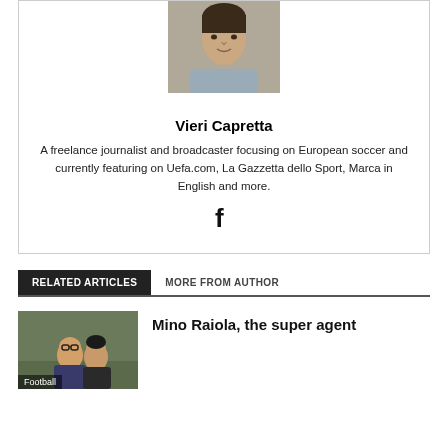[Figure (photo): Headshot photo of Vieri Capretta, a young man in a light blue shirt]
Vieri Capretta
A freelance journalist and broadcaster focusing on European soccer and currently featuring on Uefa.com, La Gazzetta dello Sport, Marca in English and more.
[Figure (logo): Facebook icon (f)]
RELATED ARTICLES
MORE FROM AUTHOR
[Figure (photo): Photo of two people at a sports venue, tagged Football]
Mino Raiola, the super agent